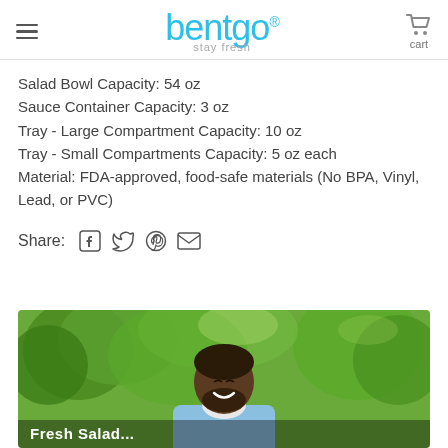bentgo stay fresh — cart
Salad Bowl Capacity: 54 oz
Sauce Container Capacity: 3 oz
Tray - Large Compartment Capacity: 10 oz
Tray - Small Compartments Capacity: 5 oz each
Material: FDA-approved, food-safe materials (No BPA, Vinyl, Lead, or PVC)
Share: [Facebook] [Twitter] [Pinterest] [Email]
[Figure (photo): Man smiling outdoors in a park setting, wearing a light blue shirt, with green trees in the background. Partial text visible at bottom.]